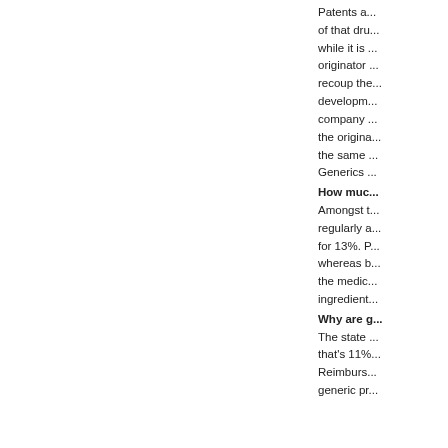Patents a... of that dru... while it is ... originator ... recoup the... developm... company ... the origina... the same ... Generics ...
How muc...
Amongst t... regularly a... for 13%. P... whereas b... the medic... ingredient...
Why are g...
The state ... that's 11%... Reimburs... generic pr...